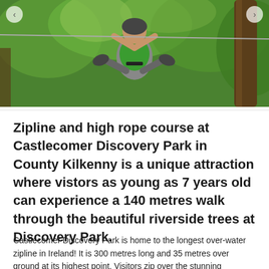[Figure (photo): Person on a zipline wearing a green vest/harness, legs raised, smiling, with green trees in the background at Castlecomer Discovery Park]
Zipline and high rope course at Castlecomer Discovery Park in County Kilkenny is a unique attraction where vistors as young as 7 years old can experience a 140 metres walk through the beautiful riverside trees at Discovery Park.
Castlecomer Discovery Park is home to the longest over-water zipline in Ireland! It is 300 metres long and 35 metres over ground at its highest point. Visitors zip over the stunning